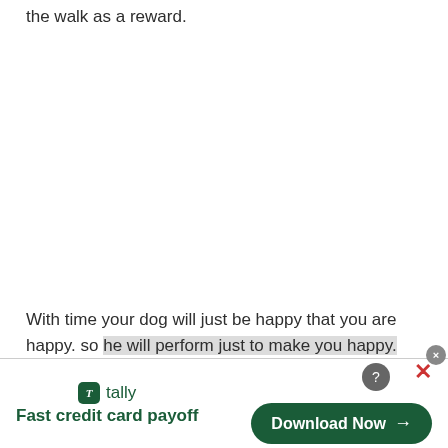the walk as a reward.
With time your dog will just be happy that you are happy. so he will perform just to make you happy.
[Figure (infographic): Tally app advertisement banner. Shows Tally logo (green square with letter T), text 'tally' and 'Fast credit card payoff' in green, and a dark green 'Download Now' button with arrow. Has a close/X button and a question mark circle in the upper right corner.]